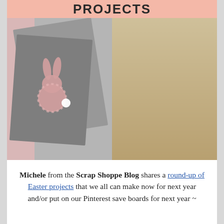[Figure (photo): Collage image showing Easter craft projects. Top pink banner reads 'PROJECTS'. Left side shows gray dish towels with pink striped bunny silhouette appliqué. Right side shows a cream canvas tote bag decorated as a bunny face with pink pom-pom nose and a 'Must Have Craft Tips & More' badge overlay.]
Michele from the Scrap Shoppe Blog shares a round-up of Easter projects that we all can make now for next year and/or put on our Pinterest save boards for next year ~